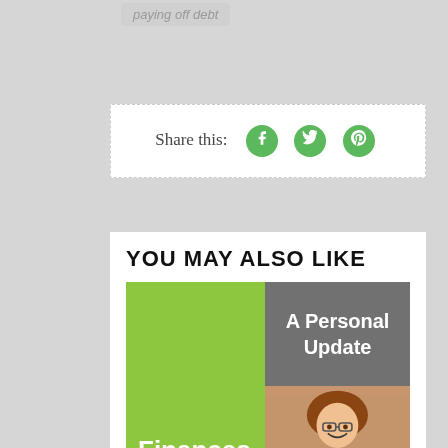paying off debt
Share this:
[Figure (infographic): Social share icons: Facebook, Twitter, Pinterest in green circles]
YOU MAY ALSO LIKE
[Figure (infographic): Two related content cards: left card green background with text 'Finances', right card split: top gray with 'A Personal Update', bottom photo of smiling woman with glasses]